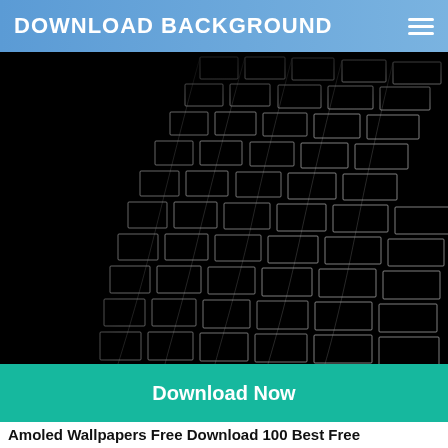DOWNLOAD BACKGROUND
[Figure (photo): Dark architectural photo of a curved building facade with a grid of dark rectangular windows outlined in white/grey lines against a black background, viewed from a low angle.]
Download Now
Amoled Wallpapers Free Download 100 Best Free